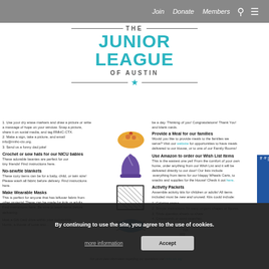Join  Donate  Members
[Figure (logo): The Junior League of Austin logo with teal text and star]
1. Use your dry erase markers and draw a picture or write a message of hope on your window. Snap a picture, share it on social media, and tag RMHC-CTX. 2. Make a sign, take a picture, and email info@rmhc-ctx.org. 3. Send us a funny dad joke!
Provide a Meal for our families
Would you like to provide meals to the families we serve? Visit our website for opportunities to have meals delivered to our House, or to one of our Family Rooms!
Crochet or sew hats for our NICU babies
These adorable beanies are perfect for our tiny friends! Find instructions here.
Use Amazon to order our Wish List items
This is the easiest one yet! From the comfort of your own home, order anything from our Wish List and it will be delivered directly to our door! Our lists include everything from items for our Happy Wheels Carts, to snacks and supplies for the House! Check it out here.
No-sew/tie blankets
These cozy items can be for a baby, child, or twin size! Please wash all fabric before delivery. Find instructions here.
Activity Packets
Assemble activity kits for children or adults! All items included must be new and unused. Kits could include:
1. Coloring pages
2. Simple instructions for easy origami shapes or figures
3. Trivia question sheets to share
4. Crosswords or word searches
Make Wearable Masks
This is perfect for anyone that has leftover fabric from other projects! These can be made for kids or adults. Find instructions here. Be sure to wash items before...
Host a Gift Card drive within your community...
By continuing to use the site, you agree to the use of cookies.
more information
Accept
For up-to-date information regarding our operations visit rmhc-ctx.org